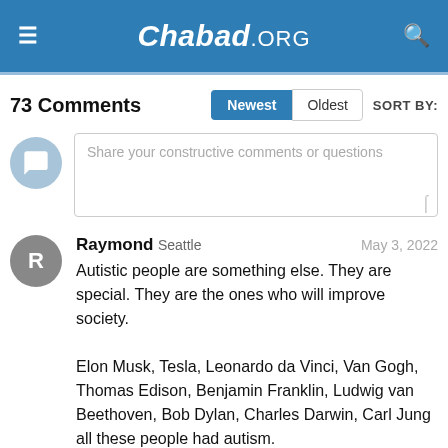Chabad.ORG
73 Comments
Share your constructive comments or questions
Raymond Seattle May 3, 2022
Autistic people are something else. They are special. They are the ones who will improve society.

Elon Musk, Tesla, Leonardo da Vinci, Van Gogh, Thomas Edison, Benjamin Franklin, Ludwig van Beethoven, Bob Dylan, Charles Darwin, Carl Jung all these people had autism.